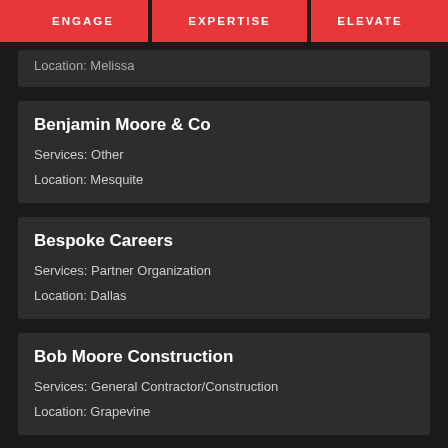ENGAGE  EXPERTISE  ELEVATE
Location: Melissa
Benjamin Moore & Co
Services: Other
Location: Mesquite
Bespoke Careers
Services: Partner Organization
Location: Dallas
Bob Moore Construction
Services: General Contractor/Construction
Location: Grapevine